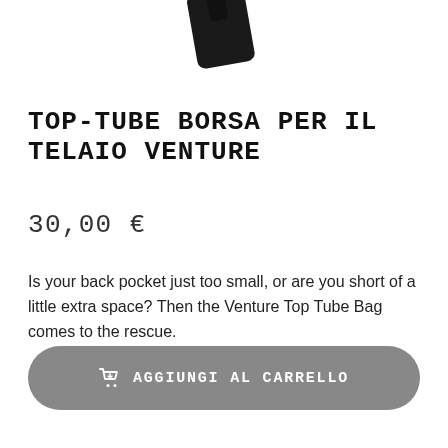[Figure (illustration): Partial view of a black bicycle frame bag (top-tube bag) shown from above, partially cut off at the top of the page]
TOP-TUBE BORSA PER IL TELAIO VENTURE
30,00 €
Is your back pocket just too small, or are you short of a little extra space? Then the Venture Top Tube Bag comes to the rescue.
AGGIUNGI AL CARRELLO